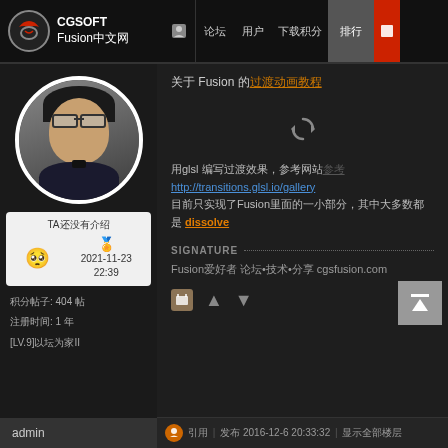CGSOFT Fusion中文网 — navigation bar with: 论坛 用户 搜索 下载积分 排行 [active] 红色图标
[Figure (photo): Circular avatar photo of a young Asian man wearing glasses, in dark clothing, cropped in a circle with white border]
TA还没有介绍
🏅 2021-11-23 22:39
积分帖子: 404 帖
注册时间: 1 年
[LV.9]以坛为家II
关于 Fusion 的过渡动画教程
用glsl 编写过渡效果，参考网站http://transitions.glsl.io/gallery 目前只实现了Fusion里面的一小部分，其中大多数都是 dissolve
SIGNATURE
Fusion爱好者 论坛•技术•分享 cgsfusion.com
引用 | 发布 2016-12-6 20:33:32 | 显示全部楼层
admin